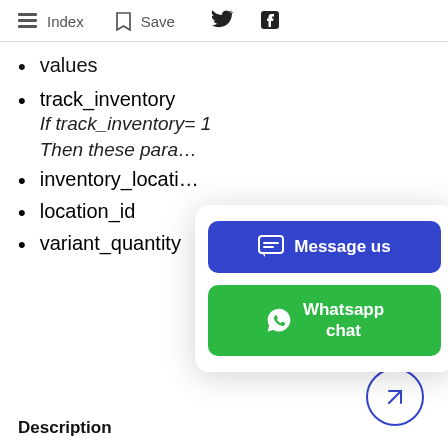Index  Save
values
track_inventory
If track_inventory= 1
Then these para…
inventory_locati…
location_id
variant_quantity
Description